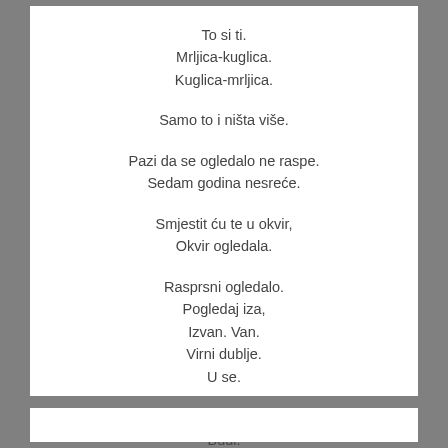To si ti.
Mrljica-kuglica.
Kuglica-mrljica.

Samo to i ništa više.

Pazi da se ogledalo ne raspe.
Sedam godina nesreće.

Smjestit ću te u okvir,
Okvir ogledala.

Rasprsni ogledalo.
Pogledaj iza,
Izvan. Van.
Virni dublje.
U se.

Smjesti se gdje želiš.
Budi.